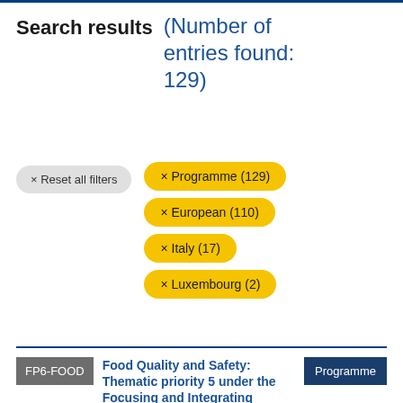Search results (Number of entries found: 129)
× Reset all filters
× Programme (129)
× European (110)
× Italy (17)
× Luxembourg (2)
FP6-FOOD
Food Quality and Safety: Thematic priority 5 under the Focusing and Integrating Community
Programme